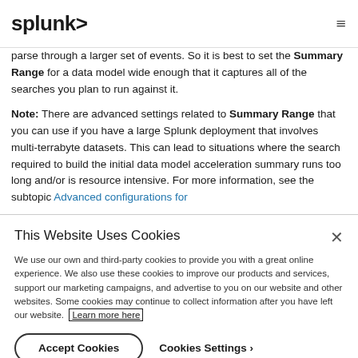splunk> [hamburger menu]
parse through a larger set of events. So it is best to set the Summary Range for a data model wide enough that it captures all of the searches you plan to run against it.
Note: There are advanced settings related to Summary Range that you can use if you have a large Splunk deployment that involves multi-terrabyte datasets. This can lead to situations where the search required to build the initial data model acceleration summary runs too long and/or is resource intensive. For more information, see the subtopic Advanced configurations for
This Website Uses Cookies
We use our own and third-party cookies to provide you with a great online experience. We also use these cookies to improve our products and services, support our marketing campaigns, and advertise to you on our website and other websites. Some cookies may continue to collect information after you have left our website. Learn more here
Accept Cookies   Cookies Settings ›